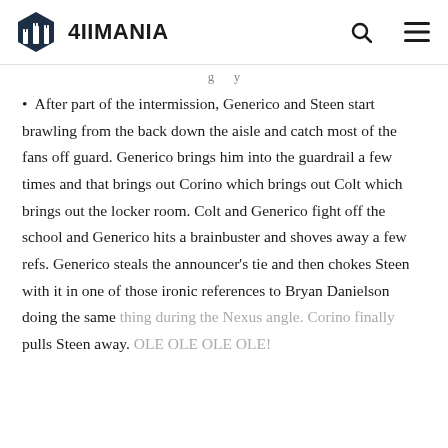4IIMANIA
(truncated top text)
After part of the intermission, Generico and Steen start brawling from the back down the aisle and catch most of the fans off guard. Generico brings him into the guardrail a few times and that brings out Corino which brings out Colt which brings out the locker room. Colt and Generico fight off the school and Generico hits a brainbuster and shoves away a few refs. Generico steals the announcer’s tie and then chokes Steen with it in one of those ironic references to Bryan Danielson doing the same thing during the Nexus angle. Corino finally pulls Steen away. OLE OLE OLE OLE!